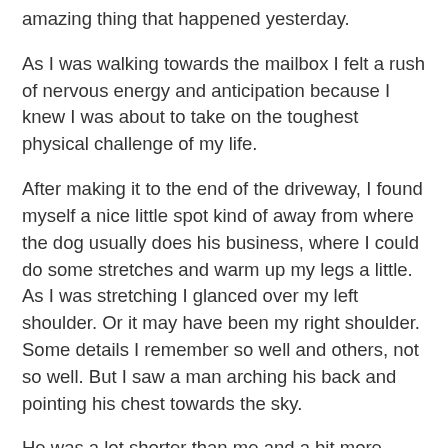amazing thing that happened yesterday.
As I was walking towards the mailbox I felt a rush of nervous energy and anticipation because I knew I was about to take on the toughest physical challenge of my life.
After making it to the end of the driveway, I found myself a nice little spot kind of away from where the dog usually does his business, where I could do some stretches and warm up my legs a little. As I was stretching I glanced over my left shoulder. Or it may have been my right shoulder. Some details I remember so well and others, not so well. But I saw a man arching his back and pointing his chest towards the sky.
He was a lot shorter than me and a bit more weathered but we struck up a conversation and amazingly after a few minutes of chatting I found out that I was actually talking to